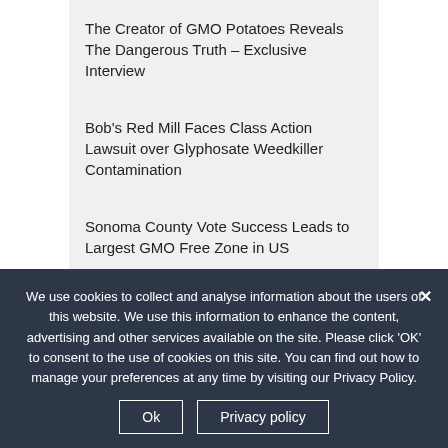The Creator of GMO Potatoes Reveals The Dangerous Truth – Exclusive Interview
Bob's Red Mill Faces Class Action Lawsuit over Glyphosate Weedkiller Contamination
Sonoma County Vote Success Leads to Largest GMO Free Zone in US
Roundup Linked to Global Boom in Celiac Disease and Gluten Intolerance
Most Popular Posts
We use cookies to collect and analyse information about the users of this website. We use this information to enhance the content, advertising and other services available on the site. Please click 'OK' to consent to the use of cookies on this site. You can find out how to manage your preferences at any time by visiting our Privacy Policy.